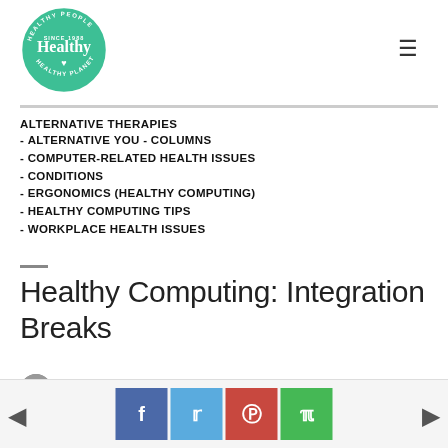[Figure (logo): Healthy People Healthy Planet circular logo in teal/green with white text]
ALTERNATIVE THERAPIES
 - ALTERNATIVE YOU  -  COLUMNS
 - COMPUTER-RELATED HEALTH ISSUES
 - CONDITIONS
 - ERGONOMICS (HEALTHY COMPUTING)
 - HEALTHY COMPUTING TIPS
 - WORKPLACE HEALTH ISSUES
Healthy Computing: Integration Breaks
Erik Peper PhD  -  2 min read